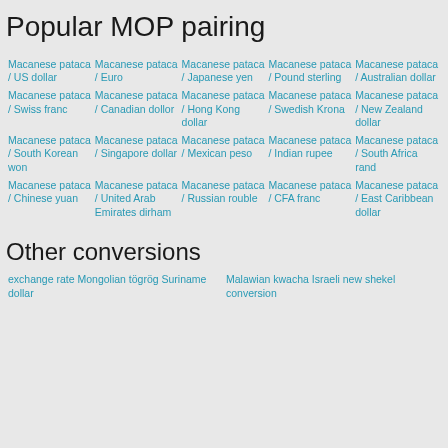Popular MOP pairing
Macanese pataca / US dollar
Macanese pataca / Euro
Macanese pataca / Japanese yen
Macanese pataca / Pound sterling
Macanese pataca / Australian dollar
Macanese pataca / Swiss franc
Macanese pataca / Canadian dollor
Macanese pataca / Hong Kong dollar
Macanese pataca / Swedish Krona
Macanese pataca / New Zealand dollar
Macanese pataca / South Korean won
Macanese pataca / Singapore dollar
Macanese pataca / Mexican peso
Macanese pataca / Indian rupee
Macanese pataca / South Africa rand
Macanese pataca / Chinese yuan
Macanese pataca / United Arab Emirates dirham
Macanese pataca / Russian rouble
Macanese pataca / CFA franc
Macanese pataca / East Caribbean dollar
Other conversions
exchange rate Mongolian tögrög Suriname dollar
Malawian kwacha Israeli new shekel conversion